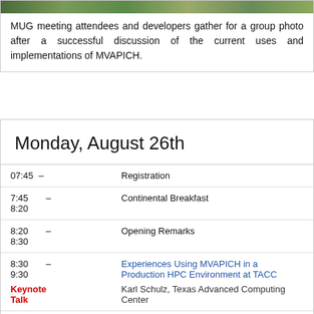[Figure (photo): Group photo of MUG meeting attendees and developers]
MUG meeting attendees and developers gather for a group photo after a successful discussion of the current uses and implementations of MVAPICH.
Monday, August 26th
| Time | Event |
| --- | --- |
| 07:45 – | Registration |
| 7:45 – 8:20 | Continental Breakfast |
| 8:20 – 8:30 | Opening Remarks |
| 8:30 – 9:30
Keynote Talk | Experiences Using MVAPICH in a Production HPC Environment at TACC
Karl Schulz, Texas Advanced Computing Center |
| 9:30 – | Building Multi-Petaflop Systems with MVAPICH2 |